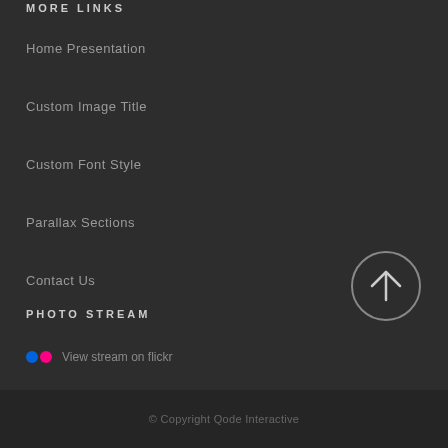MORE LINKS
Home Presentation
Custom Image Title
Custom Font Style
Parallax Sections
Contact Us
PHOTO STREAM
View stream on flickr
[Figure (illustration): Circle button with upward arrow (back to top button)]
© Copyright Qode Interactive